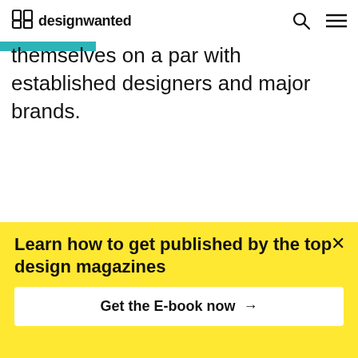designwanted
themselves on a par with established designers and major brands.
© Red
Learn how to get published by the top design magazines
Get the E-book now →